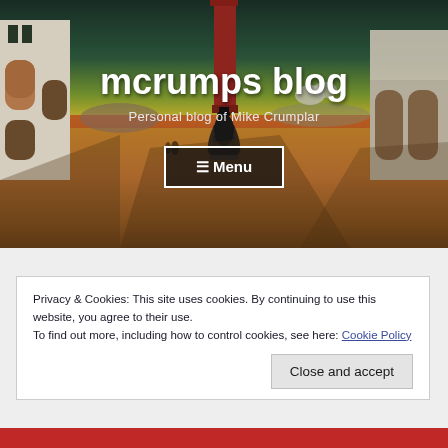[Figure (illustration): A surrealist painting used as a hero banner background, showing an Italian piazza scene with arched buildings, a tall red chimney/tower, a cloaked figure standing on a pedestal, and dramatic afternoon shadows on terracotta-colored ground under a dark green and yellow sky.]
mcrumps blog
Personal blog of Mike Crumplar
☰ Menu
Privacy & Cookies: This site uses cookies. By continuing to use this website, you agree to their use.
To find out more, including how to control cookies, see here: Cookie Policy
Close and accept